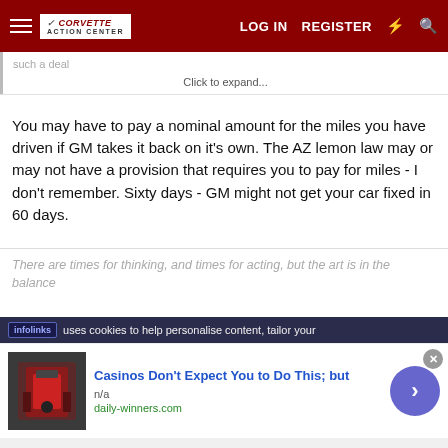Corvette Action Center — LOG IN  REGISTER
such a deal
Click to expand...
You may have to pay a nominal amount for the miles you have driven if GM takes it back on it's own. The AZ lemon law may or may not have a provision that requires you to pay for miles - I don't remember. Sixty days - GM might not get your car fixed in 60 days.
There are times for thinking, and times for acting, but the art is in the balance
infolinks  uses cookies to help personalise content, tailor your
Casinos Don't Expect You to Do This; but
n/a
daily-winners.com